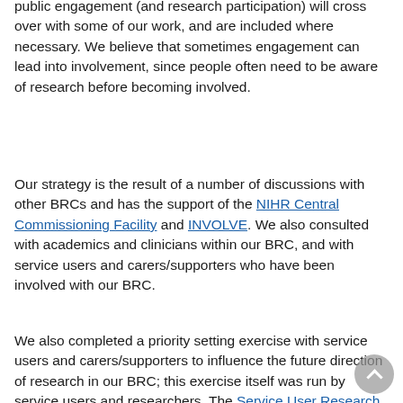public engagement (and research participation) will cross over with some of our work, and are included where necessary. We believe that sometimes engagement can lead into involvement, since people often need to be aware of research before becoming involved.
Our strategy is the result of a number of discussions with other BRCs and has the support of the NIHR Central Commissioning Facility and INVOLVE. We also consulted with academics and clinicians within our BRC, and with service users and carers/supporters who have been involved with our BRC.
We also completed a priority setting exercise with service users and carers/supporters to influence the future direction of research in our BRC; this exercise itself was run by service users and researchers. The Service User Research Enterprise at King's College London oversaw the development of this strategy. We have written this document with reference to the '4PI' framework, adhering to the Principles, Purpose, Presence, Process, and Impact